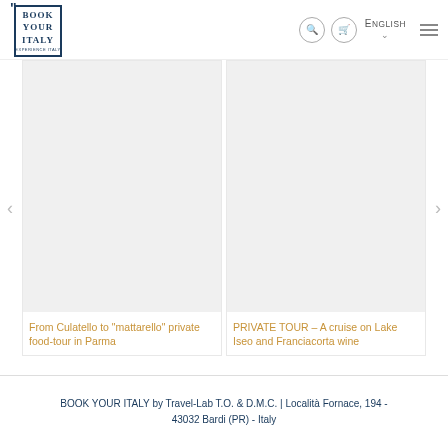BOOK YOUR ITALY — English navigation header with logo, search, bag icons, language selector
[Figure (photo): Light gray placeholder image for 'From Culatello to mattarello private food-tour in Parma']
From Culatello to "mattarello" private food-tour in Parma
[Figure (photo): Light gray placeholder image for 'PRIVATE TOUR – A cruise on Lake Iseo and Franciacorta wine']
PRIVATE TOUR – A cruise on Lake Iseo and Franciacorta wine
BOOK YOUR ITALY by Travel-Lab T.O. & D.M.C. | Località Fornace, 194 - 43032 Bardi (PR) - Italy